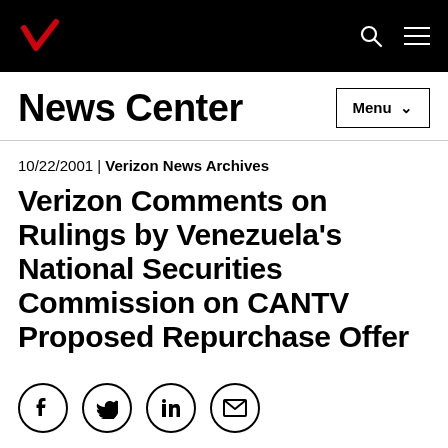Verizon logo | Search | Menu
News Center
10/22/2001 | Verizon News Archives
Verizon Comments on Rulings by Venezuela's National Securities Commission on CANTV Proposed Repurchase Offer
[Figure (infographic): Social sharing icons: Facebook, Twitter, LinkedIn, Email]